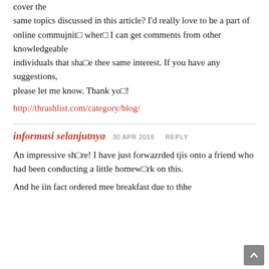cover the same topics discussed in this article? I’d really love to be a part of online commujnit□ wher□ I can get comments from other knowledgeable individuals that sha□e thee same interest. If you have any suggestions, please let me know. Thank yo□!
http://thrashlist.com/category/blog/
informasi selanjutnya  30 APR 2018  REPLY
An impressive share! I have just forwazrded tjis onto a friend who had been conducting a little homew□rk on this.
And he iin fact ordered mee breakfast due to thhe